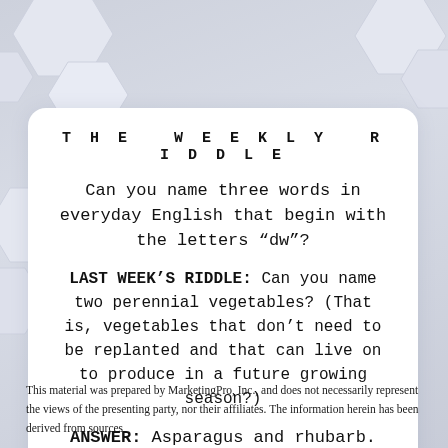THE WEEKLY RIDDLE
Can you name three words in everyday English that begin with the letters “dw”?
LAST WEEK’S RIDDLE: Can you name two perennial vegetables? (That is, vegetables that don’t need to be replanted and that can live on to produce in a future growing season?)
ANSWER: Asparagus and rhubarb.
This material was prepared by MarketingPro, Inc., and does not necessarily represent the views of the presenting party, nor their affiliates. The information herein has been derived from sources